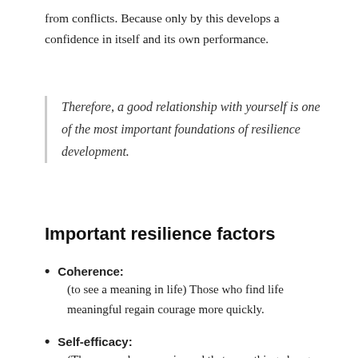from conflicts. Because only by this develops a confidence in itself and its own performance.
Therefore, a good relationship with yourself is one of the most important foundations of resilience development.
Important resilience factors
Coherence: (to see a meaning in life) Those who find life meaningful regain courage more quickly.
Self-efficacy: (The person has experienced that something changes when he acts) This encourages him to look for solutions even in difficult situations.